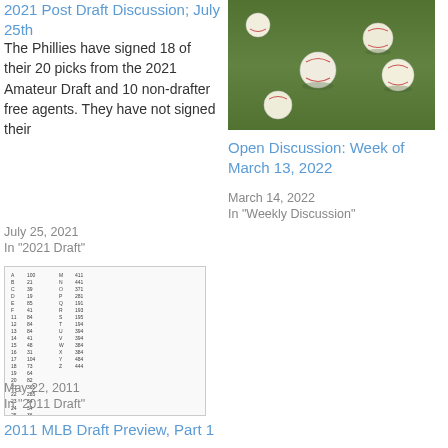2021 Post Draft Discussion; July 25th
The Phillies have signed 18 of their 20 picks from the 2021 Amateur Draft and 10 non-drafter free agents. They have not signed their
July 25, 2021
In "2021 Draft"
[Figure (photo): Baseballs lying on a grass field, viewed from above.]
Open Discussion: Week of March 13, 2022
March 14, 2022
In "Weekly Discussion"
[Figure (table-as-image): A small thumbnail image of a data table with rows and columns of numbers.]
2011 MLB Draft Preview, Part 1
May 22, 2011
In "2011 Draft"